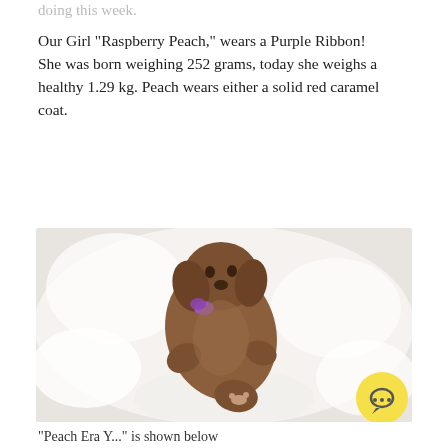doing this week.
Our Girl "Raspberry Peach," wears a Purple Ribbon!
She was born weighing 252 grams, today she weighs a healthy 1.29 kg. Peach wears either a solid red caramel coat.
[Figure (photo): A newborn brown/caramel puppy with a purple ribbon lying on a white fluffy blanket, viewed from above.]
"Peach Era Y..." is shown below the photo (partially cut off)